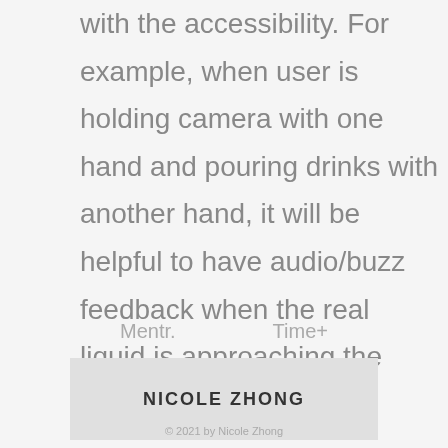with the accessibility. For example, when user is holding camera with one hand and pouring drinks with another hand, it will be helpful to have audio/buzz feedback when the real liquid is approaching the anticipated level.
Mentr.    Time+
NICOLE ZHONG
© 2021 by Nicole Zhong